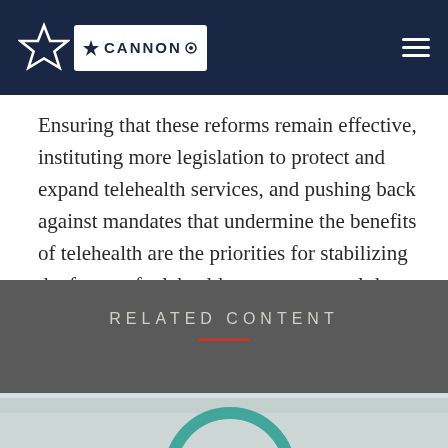Cannon
Ensuring that these reforms remain effective, instituting more legislation to protect and expand telehealth services, and pushing back against mandates that undermine the benefits of telehealth are the priorities for stabilizing the future of telehealth—a new normal that empowers progress.
RELATED CONTENT
[Figure (photo): Partial bottom image strip showing what appears to be a teal/blue stethoscope or medical instrument against a light background]